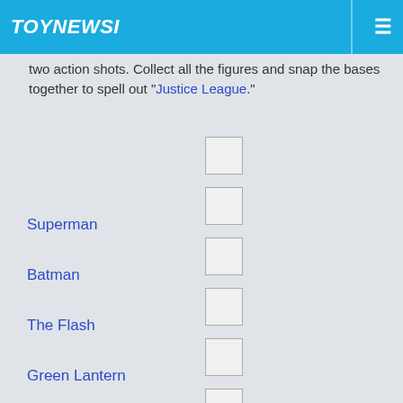TOYNEWSI
two action shots. Collect all the figures and snap the bases together to spell out "Justice League."
Superman
Batman
The Flash
Green Lantern
Wonder Woman